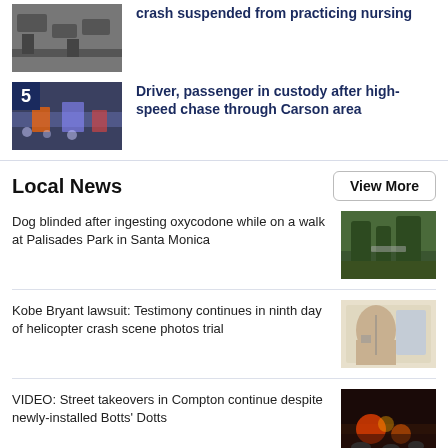[Figure (photo): Aerial view of cars on a roadway]
crash suspended from practicing nursing
[Figure (photo): Night aerial view of police chase on highway, numbered 5]
Driver, passenger in custody after high-speed chase through Carson area
Local News
View More
Dog blinded after ingesting oxycodone while on a walk at Palisades Park in Santa Monica
[Figure (photo): Park path with trees and bushes]
Kobe Bryant lawsuit: Testimony continues in ninth day of helicopter crash scene photos trial
[Figure (photo): Courtroom sketch of woman covering face]
VIDEO: Street takeovers in Compton continue despite newly-installed Botts' Dotts
[Figure (photo): Crowd scene at night with flames or lights]